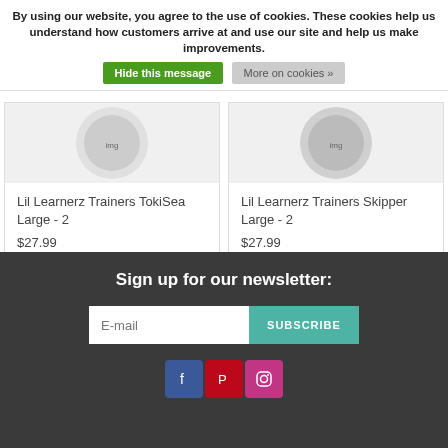By using our website, you agree to the use of cookies. These cookies help us understand how customers arrive at and use our site and help us make improvements. Hide this message More on cookies »
[Figure (other): Product image for Lil Learnerz Trainers TokiSea Large - 2 (partially visible, circular product)]
Lil Learnerz Trainers TokiSea Large - 2
$27.99
[Figure (other): Product image for Lil Learnerz Trainers Skipper Large - 2 (partially visible, circular product)]
Lil Learnerz Trainers Skipper Large - 2
$27.99
Sign up for our newsletter:
E-mail
SUBSCRIBE